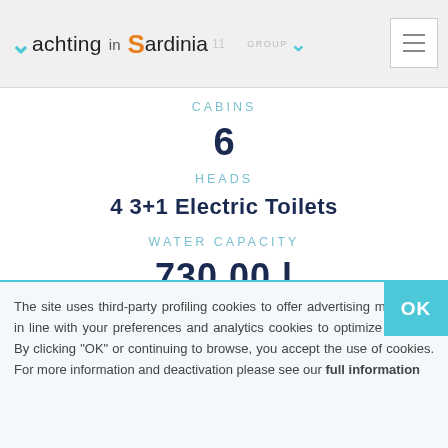Yachting in Sardinia — GROUP
CABINS
6
HEADS
4 3+1 Electric Toilets
WATER CAPACITY
730.00 l
FUEL CAPACITY
The site uses third-party profiling cookies to offer advertising messages in line with your preferences and analytics cookies to optimize the site. By clicking "OK" or continuing to browse, you accept the use of cookies. For more information and deactivation please see our full information